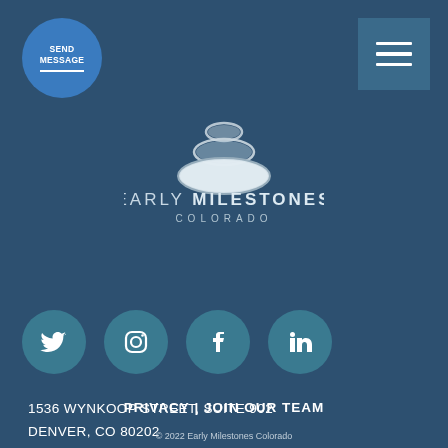[Figure (logo): Blue circular button with 'SEND MESSAGE' text and underline]
[Figure (logo): Hamburger menu icon (three horizontal lines) on dark blue square background]
[Figure (logo): Early Milestones Colorado logo: stacked stones icon above text 'EARLY MILESTONES COLORADO']
[Figure (infographic): Row of four social media icons: Twitter, Instagram, Facebook, LinkedIn — teal circles on blue background]
1536 WYNKOOP STREET, SUITE 902
DENVER, CO 80202
720-639-9000
PRIVACY  |  JOIN OUR TEAM
© 2022 Early Milestones Colorado